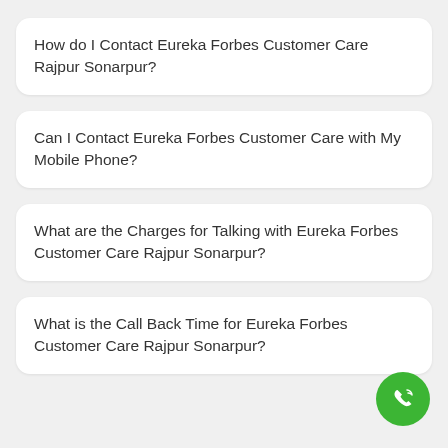How do I Contact Eureka Forbes Customer Care Rajpur Sonarpur?
Can I Contact Eureka Forbes Customer Care with My Mobile Phone?
What are the Charges for Talking with Eureka Forbes Customer Care Rajpur Sonarpur?
What is the Call Back Time for Eureka Forbes Customer Care Rajpur Sonarpur?